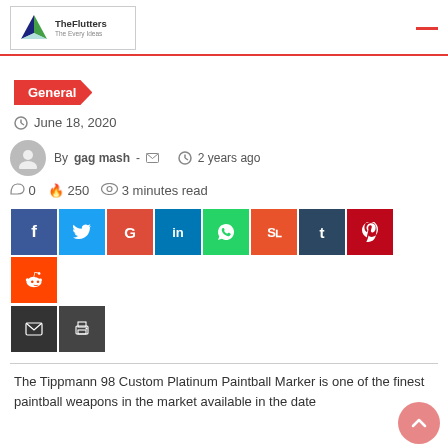TheFlutters logo and navigation
General
June 18, 2020
By gag mash - ✉  2 years ago
0  250  3 minutes read
[Figure (other): Social share buttons: Facebook, Twitter, Google+, LinkedIn, WhatsApp, StumbleUpon, Tumblr, Pinterest, Reddit, Email, Print]
The Tippmann 98 Custom Platinum Paintball Marker is one of the finest paintball weapons in the market available in the date